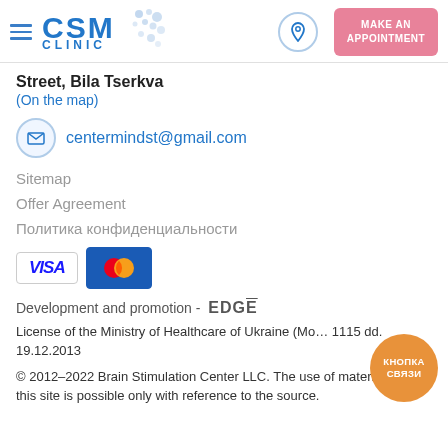[Figure (logo): CSM Clinic logo with blue text and decorative dots, hamburger menu icon, location pin icon, and pink 'MAKE AN APPOINTMENT' button in header]
Street, Bila Tserkva
(On the map)
centermindst@gmail.com
Sitemap
Offer Agreement
Политика конфиденциальности
[Figure (logo): VISA and MasterCard payment logos]
Development and promotion - EDGĒ
License of the Ministry of Healthcare of Ukraine (Mo… 1115 dd. 19.12.2013
© 2012–2022 Brain Stimulation Center LLC. The use of materials from this site is possible only with reference to the source.